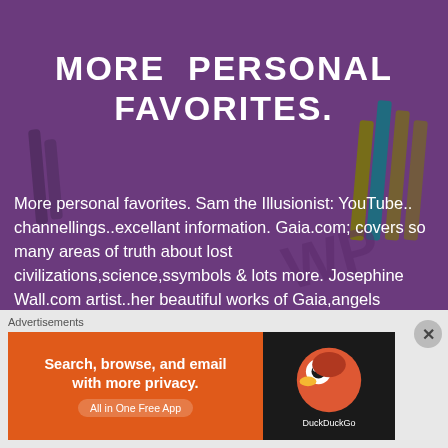[Figure (illustration): Purple background with decorative slash marks and stylized text/symbols in dark olive and teal]
MORE PERSONAL FAVORITES.
More personal favorites. Sam the Illusionist: YouTube.. channellings..excellant information. Gaia.com; covers so many areas of truth about lost civilizations,science,ssymbols & lots more. Josephine Wall.com artist..her beautiful works of Gaia,angels ,fairies,are stunning. 3 WordPress sites I love. Parneetsacdev; of Timeless Mind.. wonderfuly
Advertisements
[Figure (screenshot): DuckDuckGo advertisement banner: orange left panel saying 'Search, browse, and email with more privacy. All in One Free App' and dark right panel with DuckDuckGo logo]